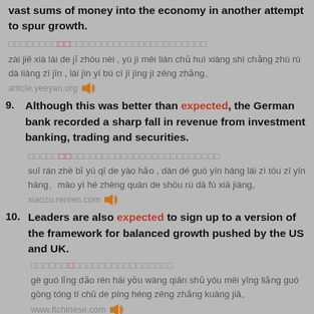vast sums of money into the economy in another attempt to spur growth.
Chinese characters line (with red chars)
zài jiē xià lái de jǐ zhōu nèi , yù jì měi lián chǔ huì xiàng shì chǎng zhù rù dà liàng zī jīn , lái jìn yí bù cì jī jīng jì zēng zhǎng。
article.yeeyan.org
9. Although this was better than expected, the German bank recorded a sharp fall in revenue from investment banking, trading and securities.
Chinese characters line 2
suī rán zhè bǐ yù qī de yào hǎo , dàn dé guó yín háng lái zì tóu zī yín háng、mào yì hé zhèng quàn de shōu rù dà fú xià jiàng。
xiaozu.renren.com
10. Leaders are also expected to sign up to a version of the framework for balanced growth pushed by the US and UK.
Chinese characters line 3
gè guó lǐng dǎo rén hái yǒu wàng qiān shǔ yóu měi yīng liǎng guó gòng tóng tí chū de píng héng zēng zhǎng kuàng jiā。
www.ftchinese.com